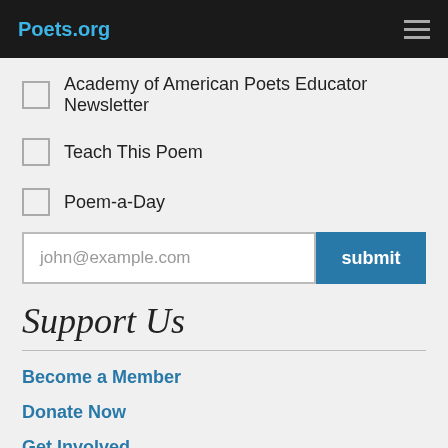Poets.org
Academy of American Poets Educator Newsletter
Teach This Poem
Poem-a-Day
john@example.com  submit
Support Us
Become a Member
Donate Now
Get Involved
Make a Bequest